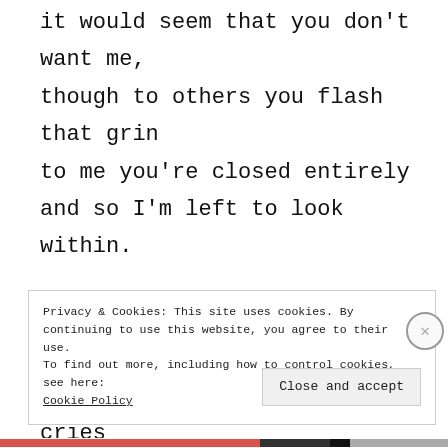it would seem that you don't want me,
though to others you flash that grin
to me you're closed entirely
and so I'm left to look within.

Still stranded in a lullaby
that's unapproachable by sin;
the world finds no use in my cries
and so I'm left to look within.
Privacy & Cookies: This site uses cookies. By continuing to use this website, you agree to their use.
To find out more, including how to control cookies, see here:
Cookie Policy
Close and accept